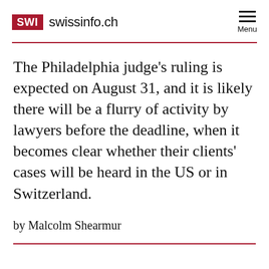SWI swissinfo.ch
The Philadelphia judge's ruling is expected on August 31, and it is likely there will be a flurry of activity by lawyers before the deadline, when it becomes clear whether their clients' cases will be heard in the US or in Switzerland.
by Malcolm Shearmur